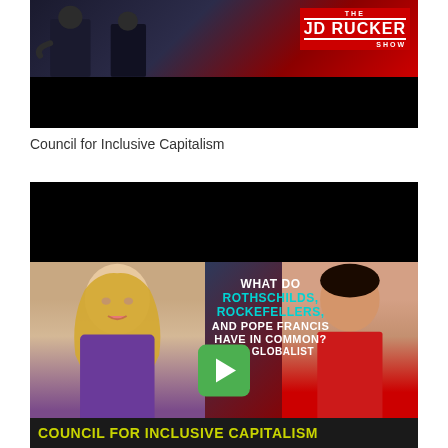[Figure (screenshot): JD Rucker Show video thumbnail showing two people and the show logo with red branding]
Council for Inclusive Capitalism
[Figure (screenshot): Video thumbnail showing a blonde woman and a man with text overlay: WHAT DO ROTHSCHILDS, ROCKEFELLERS, AND POPE FRANCIS HAVE IN COMMON? THE GLOBALIST COUNCIL FOR INCLUSIVE CAPITALISM, with a green play button in the center]